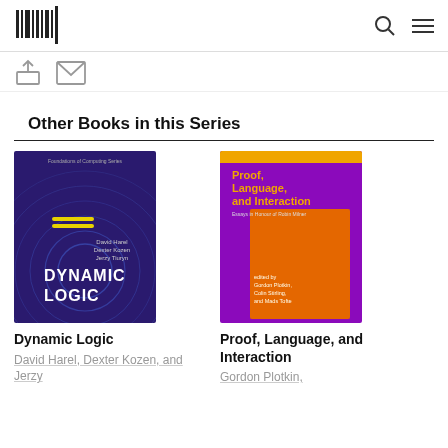MIT Press logo, search icon, menu icon
[Figure (other): Share icon (upload box with arrow) and envelope/mail icon]
Other Books in this Series
[Figure (photo): Book cover: Dynamic Logic — dark purple/blue background with circular wave patterns, authors David Harel, Dexter Kozen, Jerzy Tiuryn, yellow horizontal lines in center]
Dynamic Logic
David Harel, Dexter Kozen, and Jerzy
[Figure (photo): Book cover: Proof, Language, and Interaction — purple background with orange square inset, orange title text, subtitle 'Essays in Honour of Robin Milner', edited by Gordon Plotkin, Colin Stirling, and Mads Tofte]
Proof, Language, and Interaction
Gordon Plotkin,